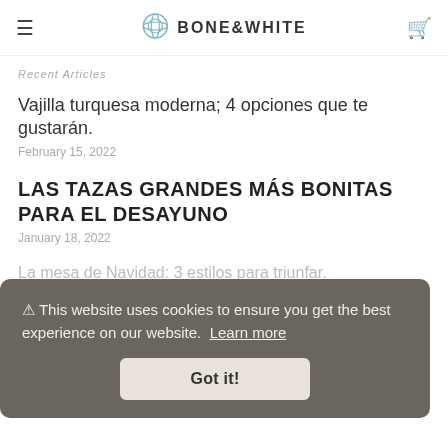BONE & WHITE
Recent Articles
Vajilla turquesa moderna; 4 opciones que te gustarán.
February 15, 2022
LAS TAZAS GRANDES MÁS BONITAS PARA EL DESAYUNO
January 18, 2022
La mesa de Navidad: 3 estilos para triunfar.
This website uses cookies to ensure you get the best experience on our website. Learn more Got it!
Como decorar la mesa en Halloween con estilo 🎃